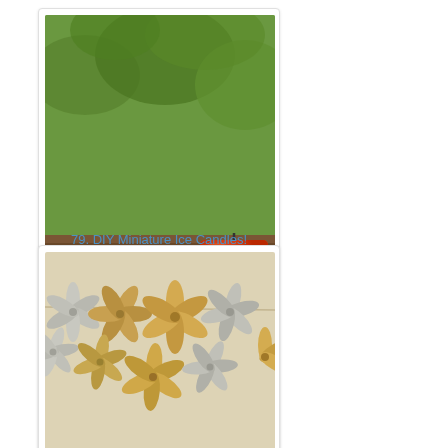[Figure (photo): Photo of colorful DIY ice candles on a wooden deck. Candles are yellow, green, blue, purple, and orange with ice-formed holes. Text overlay reads 'DIY Ice Candles!']
79. DIY Miniature Ice Candles!
[Figure (photo): Photo of a paper roll garland made from toilet paper tube strips formed into flower/pinwheel shapes, hung on a string against a beige/cream wall background.]